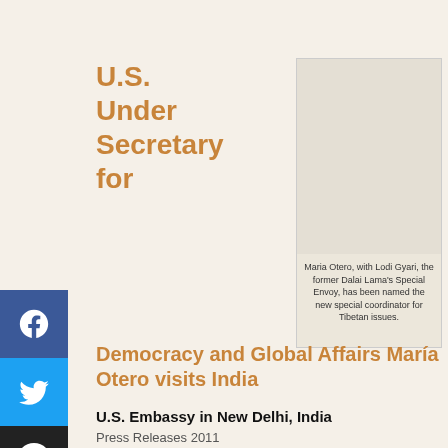U.S. Under Secretary for
[Figure (photo): Photo of Maria Otero with Lodi Gyari, with caption below]
Maria Otero, with Lodi Gyari, the former Dalai Lama’s Special Envoy, has been named the new special coordinator for Tibetan issues.
Democracy and Global Affairs María Otero visits India
U.S. Embassy in New Delhi, India
Press Releases 2011